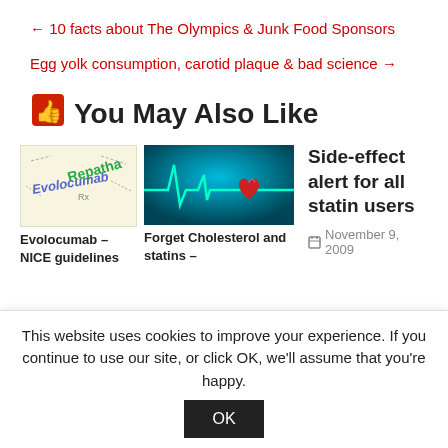← 10 facts about The Olympics & Junk Food Sponsors
Egg yolk consumption, carotid plaque & bad science →
👍 You May Also Like
[Figure (photo): Evolocumab and Repatha drug logos illustration]
Evolocumab – NICE guidelines
[Figure (photo): Heartbeat ECG line with red heart on teal background]
Forget Cholesterol and statins –
Side-effect alert for all statin users
November 9, 2009
This website uses cookies to improve your experience. If you continue to use our site, or click OK, we'll assume that you're happy.